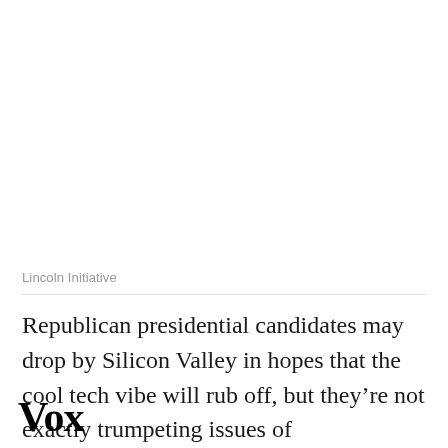Lincoln Initiative
Republican presidential candidates may drop by Silicon Valley in hopes that the cool tech vibe will rub off, but they're not exactly trumpeting issues of
Vox